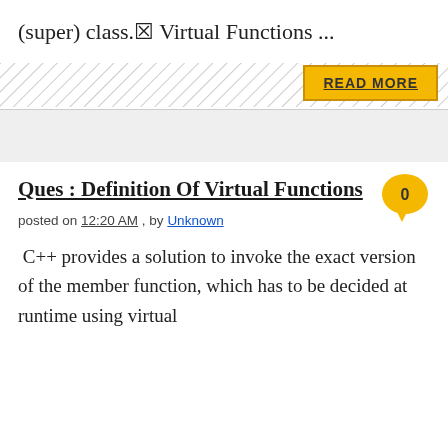(super) class.⊠ Virtual Functions ...
[Figure (other): READ MORE button on diagonal hatched background]
[Figure (other): Comment bubble with 0]
Ques : Definition Of Virtual Functions
posted on 12:20 AM , by Unknown
C++ provides a solution to invoke the exact version of the member function, which has to be decided at runtime using virtual